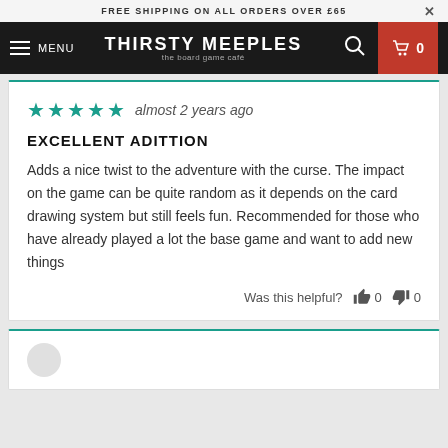FREE SHIPPING ON ALL ORDERS OVER £65
THIRSTY MEEPLES the board game café  MENU  🔍  🛒 0
almost 2 years ago
EXCELLENT ADITTION
Adds a nice twist to the adventure with the curse. The impact on the game can be quite random as it depends on the card drawing system but still feels fun. Recommended for those who have already played a lot the base game and want to add new things
Was this helpful?  👍 0  👎 0